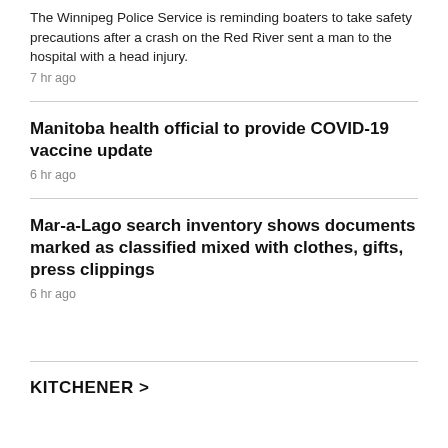The Winnipeg Police Service is reminding boaters to take safety precautions after a crash on the Red River sent a man to the hospital with a head injury.
7 hr ago
Manitoba health official to provide COVID-19 vaccine update
6 hr ago
Mar-a-Lago search inventory shows documents marked as classified mixed with clothes, gifts, press clippings
6 hr ago
KITCHENER >